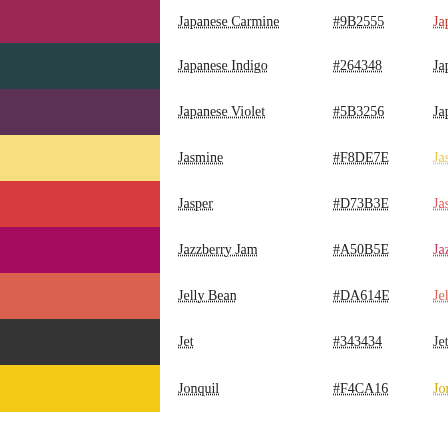Japanese Carmine | #9B2555 | Japanese Carmine
Japanese Indigo | #264348 | Japanese Indigo
Japanese Violet | #5B3256 | Japanese Violet
Jasmine | #F8DE7E | Jasmine
Jasper | #D73B3E | Jasper
Jazzberry Jam | #A50B5E | Jazzberry Jam
Jelly Bean | #DA614E | Jelly Bean
Jet | #343434 | Jet
Jonquil | #F4CA16 | Jonquil